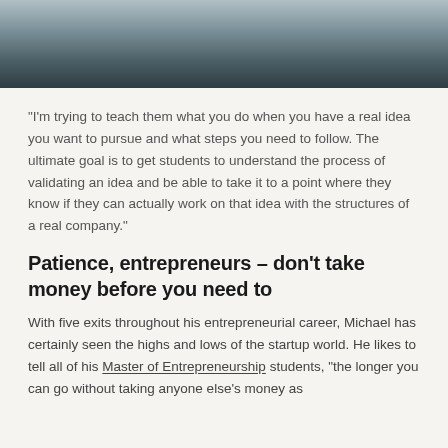[Figure (photo): Cropped photo of a person in dark clothing, shown from the chest up against a muted background. Only the lower portion of the image is visible at the top of the page.]
“I’m trying to teach them what you do when you have a real idea you want to pursue and what steps you need to follow. The ultimate goal is to get students to understand the process of validating an idea and be able to take it to a point where they know if they can actually work on that idea with the structures of a real company.”
Patience, entrepreneurs – don’t take money before you need to
With five exits throughout his entrepreneurial career, Michael has certainly seen the highs and lows of the startup world. He likes to tell all of his Master of Entrepreneurship students, “the longer you can go without taking anyone else’s money as